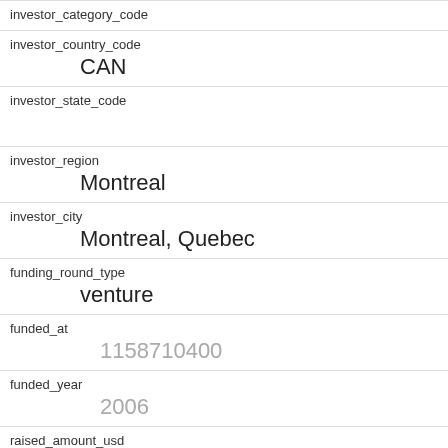| field | value |
| --- | --- |
| investor_category_code |  |
| investor_country_code | CAN |
| investor_state_code |  |
| investor_region | Montreal |
| investor_city | Montreal, Quebec |
| funding_round_type | venture |
| funded_at | 1158710400 |
| funded_year | 2006 |
| raised_amount_usd | 11000000 |
| gristHelper_Display2 | /company/ebillme |